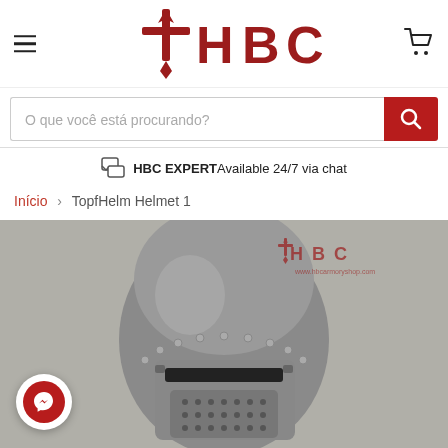HBC — hamburger menu, logo, cart icon
O que você está procurando?
HBC EXPERT Available 24/7 via chat
Início > TopfHelm Helmet 1
[Figure (photo): A medieval TopfHelm great helmet made of polished steel with rivets and a perforated visor, photographed against a grey fabric background. HBC watermark logo visible in top-right corner of photo.]